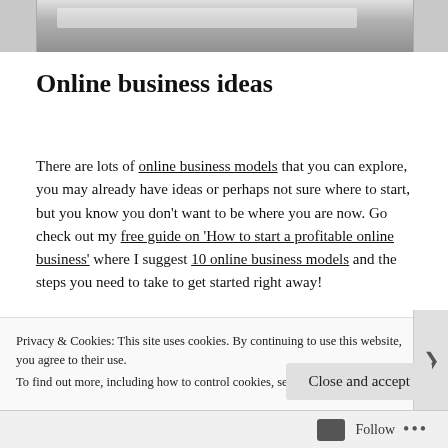[Figure (photo): Cropped photo strip showing a light gray surface, likely a desk or laptop, partially visible at the top of the page.]
Online business ideas
There are lots of online business models that you can explore, you may already have ideas or perhaps not sure where to start, but you know you don't want to be where you are now. Go check out my free guide on 'How to start a profitable online business' where I suggest 10 online business models and the steps you need to take to get started right away!
Privacy & Cookies: This site uses cookies. By continuing to use this website, you agree to their use.
To find out more, including how to control cookies, see here: Cookie Policy
Close and accept
Follow